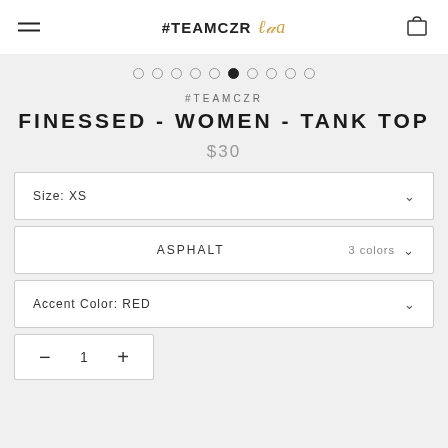#TEAMCZR.//a
[Figure (infographic): Carousel pagination dots, 10 total with the 5th filled/active]
#TEAMCZR
FINESSED - WOMEN - TANK TOP
$30
Size: XS
ASPHALT   3 colors
Accent Color: RED
1